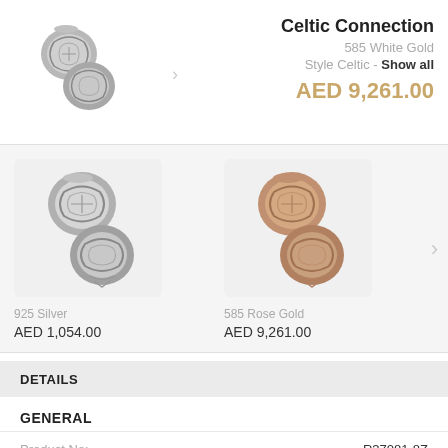[Figure (photo): Celtic Connection jewelry piece in 585 White Gold - two intricate filigree beads]
Celtic Connection
585 White Gold
Style Celtic - Show all
AED 9,261.00
[Figure (photo): Celtic Connection in 925 Silver - filigree beads]
[Figure (photo): Celtic Connection in 585 Rose Gold - filigree beads]
925 Silver
AED 1,054.00
585 Rose Gold
AED 9,261.00
DETAILS
GENERAL
Product No:		R37081-8Z